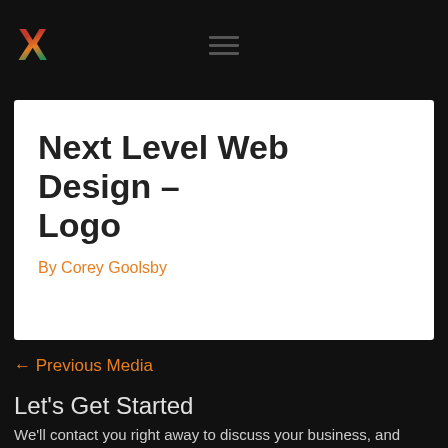X  ≡
Next Level Web Design – Logo
By Corey Goolsby
← Previous Media
Let's Get Started
We'll contact you right away to discuss your business, and whether our monthly pricing or project based pricing is the best